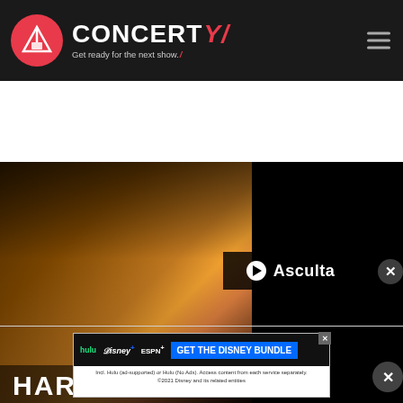[Figure (screenshot): Concerty website header with logo (red circle with Y icon), brand name CONCERTY with red slash, tagline 'Get ready for the next show.' and hamburger menu icon on dark background]
[Figure (photo): Harry Styles promotional photo — person with hair swept dramatically, warm amber and orange lighting on dark background. 'Asculta' play button overlay in top right corner. Artist name 'HARRY STYLES' in large white bold text at bottom. Close X button on right edge.]
[Figure (screenshot): Disney Bundle advertisement banner showing Hulu, Disney+, ESPN+ logos with 'GET THE DISNEY BUNDLE' call to action button in blue, and fine print below. Small X close button in corner.]